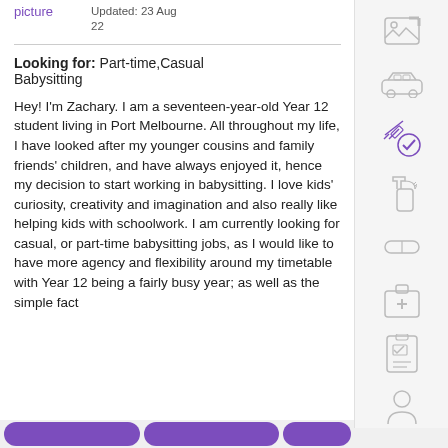picture
Updated: 23 Aug 22
Looking for: Part-time,Casual Babysitting
Hey! I'm Zachary. I am a seventeen-year-old Year 12 student living in Port Melbourne. All throughout my life, I have looked after my younger cousins and family friends' children, and have always enjoyed it, hence my decision to start working in babysitting. I love kids' curiosity, creativity and imagination and also really like helping kids with schoolwork. I am currently looking for casual, or part-time babysitting jobs, as I would like to have more agency and flexibility around my timetable with Year 12 being a fairly busy year; as well as the simple fact
[Figure (illustration): Placeholder image icon (landscape photo icon)]
[Figure (illustration): Car icon]
[Figure (illustration): Syringe/vaccination check icon (purple)]
[Figure (illustration): Spray bottle icon]
[Figure (illustration): Eraser/pill icon]
[Figure (illustration): First aid kit icon]
[Figure (illustration): Checklist/document icon]
[Figure (illustration): Person/profile silhouette icon]